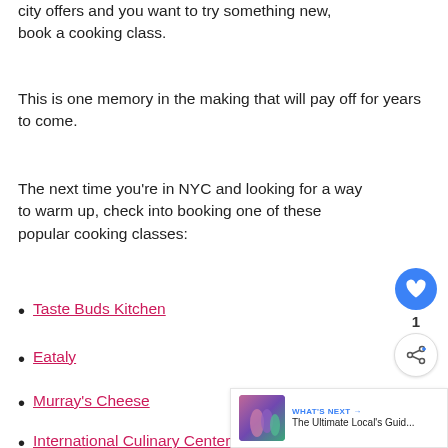city offers and you want to try something new, book a cooking class.
This is one memory in the making that will pay off for years to come.
The next time you're in NYC and looking for a way to warm up, check into booking one of these popular cooking classes:
Taste Buds Kitchen
Eataly
Murray's Cheese
International Culinary Center